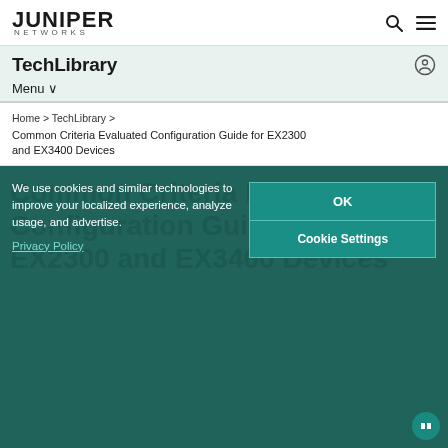[Figure (logo): Juniper Networks logo — stylized 'JUNIPER NETWORKS' wordmark in dark text]
TechLibrary
Menu ∨
Home › TechLibrary › Common Criteria Evaluated Configuration Guide for EX2300 and EX3400 Devices
Common Criteria Evaluated Configuration Guide for EX2300 and EX3400 Devices
We use cookies and similar technologies to improve your localized experience, analyze usage, and advertise.
Privacy Policy
OK
Cookie Settings